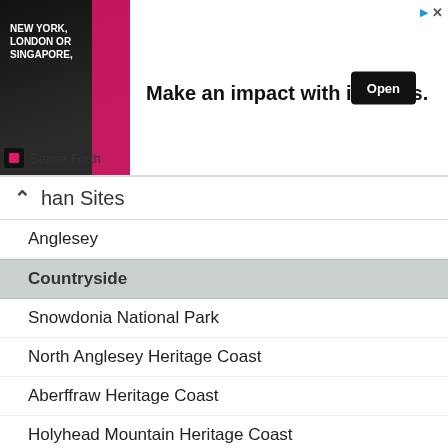[Figure (other): Advertisement banner for Sense Forth: image of man with text 'NEW YORK, LONDON OR SINGAPORE,' on left, center text 'Make an impact with insights.' and 'Open' button on right.]
han Sites
Anglesey
Countryside
Snowdonia National Park
North Anglesey Heritage Coast
Aberffraw Heritage Coast
Holyhead Mountain Heritage Coast
Lleyn Peninsula Heritage Coast
Accommodation
North Wales Hotels